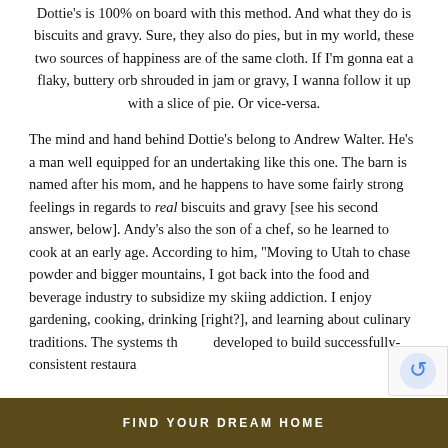Dottie's is 100% on board with this method. And what they do is biscuits and gravy. Sure, they also do pies, but in my world, these two sources of happiness are of the same cloth. If I'm gonna eat a flaky, buttery orb shrouded in jam or gravy, I wanna follow it up with a slice of pie. Or vice-versa.
The mind and hand behind Dottie's belong to Andrew Walter. He's a man well equipped for an undertaking like this one. The barn is named after his mom, and he happens to have some fairly strong feelings in regards to real biscuits and gravy [see his second answer, below]. Andy's also the son of a chef, so he learned to cook at an early age. According to him, "Moving to Utah to chase powder and bigger mountains, I got back into the food and beverage industry to subsidize my skiing addiction. I enjoy gardening, cooking, drinking [right?], and learning about culinary traditions. The systems that are developed to build successfully-consistent restaura...
FIND YOUR DREAM HOME